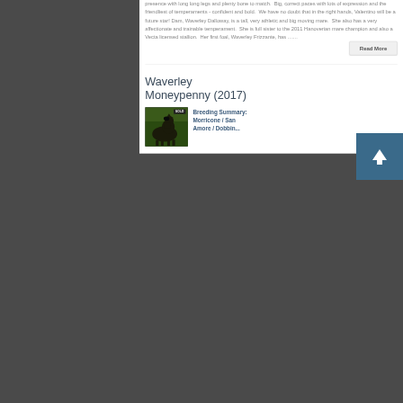presence with long long legs and plenty bone to match. Big, correct paces with lots of expression and the friendliest of temperaments - confident and bold. We have no doubt that in the right hands, Valentino will be a future star! Dam, Waverley Dalloway, is a tall, very athletic and big moving mare. She also has a very affectionate and trainable temperament. She is full sister to the 2011 Hanoverian mare champion and also a Vecta licensed stallion. Her first foal, Waverley Frizzante, has ........
Waverley Moneypenny (2017)
[Figure (photo): A dark horse foal photographed against a green background with a SOLD badge overlay in the top right corner]
Breeding Summary: Morricone / San Amore / Dobbin...